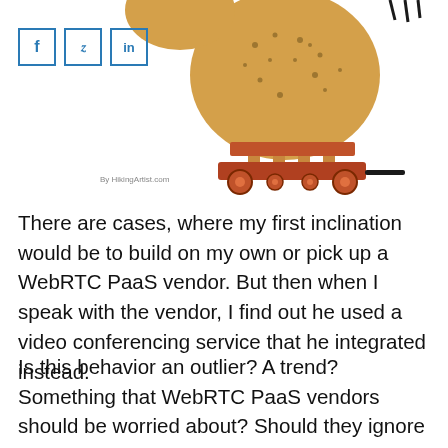[Figure (illustration): Cartoon illustration of a round bread/potato-like character on a wheeled cart/trolley, with legs, drawn in a whimsical style. Partially cropped at top.]
[Figure (other): Three social media icon buttons: Facebook (f), Twitter (bird/y), LinkedIn (in), each in a square border with blue color.]
By HikingArtist.com
There are cases, where my first inclination would be to build on my own or pick up a WebRTC PaaS vendor. But then when I speak with the vendor, I find out he used a video conferencing service that he integrated instead.
Is this behavior an outlier? A trend? Something that WebRTC PaaS vendors should be worried about? Should they ignore it? Mere coincidence?